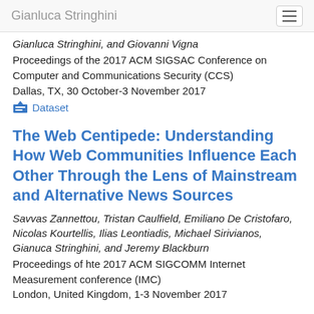Gianluca Stringhini
Gianluca Stringhini, and Giovanni Vigna
Proceedings of the 2017 ACM SIGSAC Conference on Computer and Communications Security (CCS)
Dallas, TX, 30 October-3 November 2017
Dataset
The Web Centipede: Understanding How Web Communities Influence Each Other Through the Lens of Mainstream and Alternative News Sources
Savvas Zannettou, Tristan Caulfield, Emiliano De Cristofaro, Nicolas Kourtellis, Ilias Leontiadis, Michael Sirivianos, Gianuca Stringhini, and Jeremy Blackburn
Proceedings of hte 2017 ACM SIGCOMM Internet Measurement conference (IMC)
London, United Kingdom, 1-3 November 2017